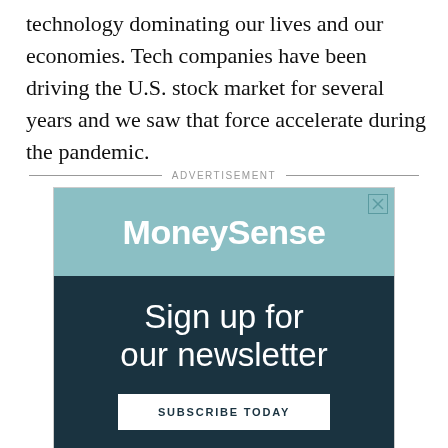technology dominating our lives and our economies. Tech companies have been driving the U.S. stock market for several years and we saw that force accelerate during the pandemic.
[Figure (other): MoneySense advertisement banner with teal header showing 'MoneySense' logo, dark navy lower section with text 'Sign up for our newsletter' and a white button reading 'SUBSCRIBE TODAY'. A close (X) button appears in the top right corner of the ad.]